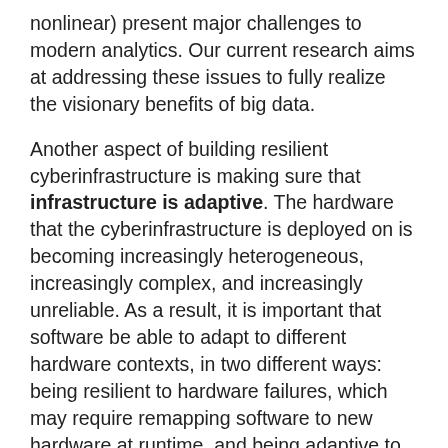nonlinear) present major challenges to modern analytics. Our current research aims at addressing these issues to fully realize the visionary benefits of big data.
Another aspect of building resilient cyberinfrastructure is making sure that infrastructure is adaptive. The hardware that the cyberinfrastructure is deployed on is becoming increasingly heterogeneous, increasingly complex, and increasingly unreliable. As a result, it is important that software be able to adapt to different hardware contexts, in two different ways: being resilient to hardware failures, which may require remapping software to new hardware at runtime, and being adaptive to changing hardware availability, which requires that the same software be able to execute effectively on a wide variety of hardware platforms. Our research on this front proceeds along several lines: building programming models that allow developers to write software that transparently adapts to changing hardware resources; developing performance models that allow software to be